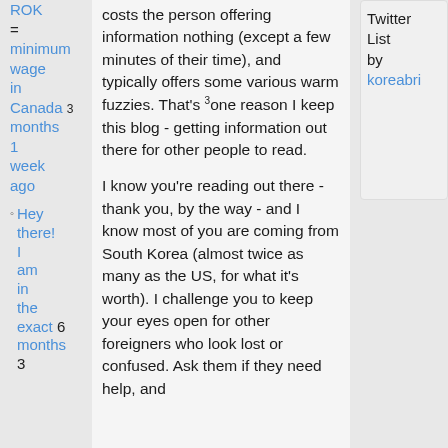ROK = minimum wage in Canada 3 months 1 week ago
Hey there! I am in the exact 6 months 3
costs the person offering information nothing (except a few minutes of their time), and typically offers some various warm fuzzies. That's one reason I keep this blog - getting information out there for other people to read.
I know you're reading out there - thank you, by the way - and I know most of you are coming from South Korea (almost twice as many as the US, for what it's worth). I challenge you to keep your eyes open for other foreigners who look lost or confused. Ask them if they need help, and
Twitter List by koreabri